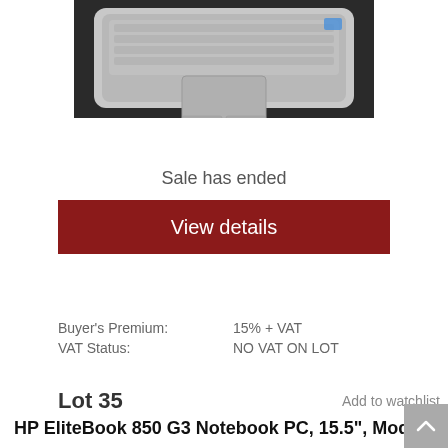[Figure (photo): Top portion of an HP EliteBook laptop showing the keyboard and trackpad area, silver/aluminum chassis on a dark background]
Sale has ended
View details
| Buyer's Premium: | 15% + VAT |
| VAT Status: | NO VAT ON LOT |
Lot 35
Add to watchlist
HP EliteBook 850 G3 Notebook PC, 15.5", Model 850G